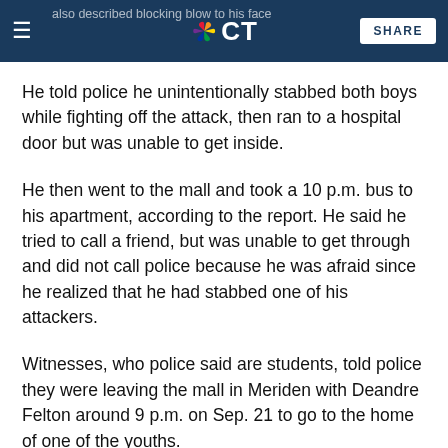NBC CT | SHARE
He told police he unintentionally stabbed both boys while fighting off the attack, then ran to a hospital door but was unable to get inside.
He then went to the mall and took a 10 p.m. bus to his apartment, according to the report. He said he tried to call a friend, but was unable to get through and did not call police because he was afraid since he realized that he had stabbed one of his attackers.
Witnesses, who police said are students, told police they were leaving the mall in Meriden with Deandre Felton around 9 p.m. on Sep. 21 to go to the home of one of the youths.